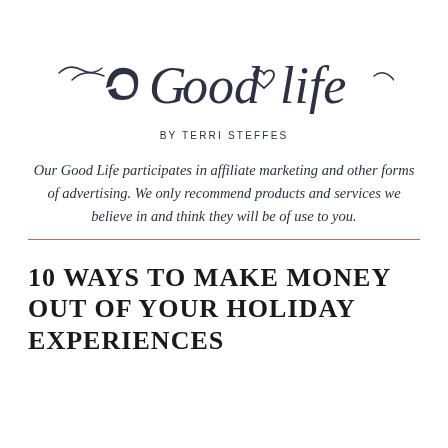[Figure (logo): Stylized cursive script logo reading 'a Good Life' with a small heart symbol between 'Good' and 'Life', in dark navy ink on white background]
BY TERRI STEFFES
Our Good Life participates in affiliate marketing and other forms of advertising. We only recommend products and services we believe in and think they will be of use to you.
10 WAYS TO MAKE MONEY OUT OF YOUR HOLIDAY EXPERIENCES